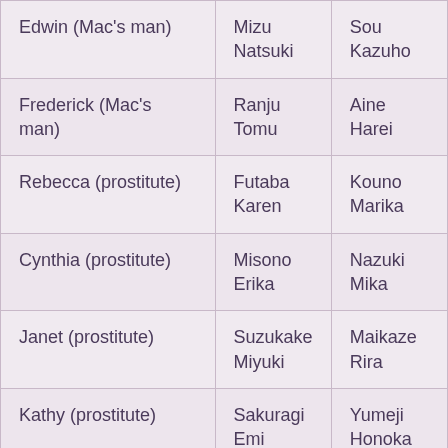| Edwin (Mac's man) | Mizu
Natsuki | Sou
Kazuho |
| Frederick (Mac's man) | Ranju
Tomu | Aine Harei |
| Rebecca (prostitute) | Futaba
Karen | Kouno
Marika |
| Cynthia (prostitute) | Misono
Erika | Nazuki
Mika |
| Janet (prostitute) | Suzukake
Miyuki | Maikaze
Rira |
| Kathy (prostitute) | Sakuragi
Emi | Yumeji
Honoka |
| Patricia (prostitute) | Ootori Rei | Hayase |